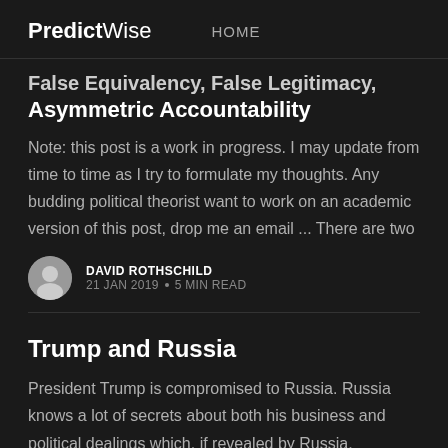PredictWise  HOME
False Equivalency, False Legitimacy, Asymmetric Accountability
Note: this post is a work in progress. I may update from time to time as I try to formulate my thoughts. Any budding political theorist want to work on an academic version of this post, drop me an email ... There are two
DAVID ROTHSCHILD
21 JAN 2019 • 5 MIN READ
Trump and Russia
President Trump is compromised to Russia. Russia knows a lot of secrets about both his business and political dealings which, if revealed by Russia,